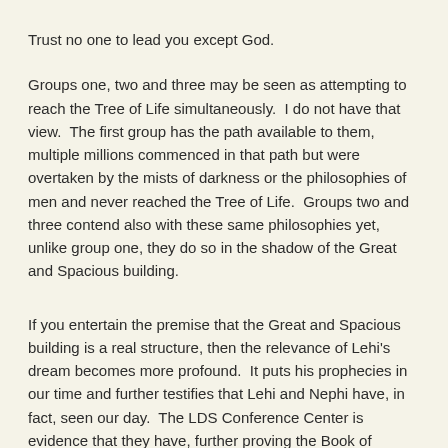Trust no one to lead you except God.
Groups one, two and three may be seen as attempting to reach the Tree of Life simultaneously.  I do not have that view.  The first group has the path available to them, multiple millions commenced in that path but were overtaken by the mists of darkness or the philosophies of men and never reached the Tree of Life.  Groups two and three contend also with these same philosophies yet, unlike group one, they do so in the shadow of the Great and Spacious building.
If you entertain the premise that the Great and Spacious building is a real structure, then the relevance of Lehi's dream becomes more profound.  It puts his prophecies in our time and further testifies that Lehi and Nephi have, in fact, seen our day.  The LDS Conference Center is evidence that they have, further proving the Book of Mormon.  Prophecy is being fulfilled.